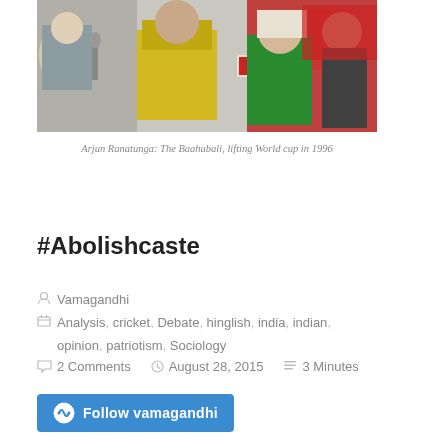[Figure (photo): Group photo showing Arjun Ranatunga lifting the World Cup in 1996, with several people around him including a woman in green attire with a white headscarf and a man with a microphone on the left.]
Arjun Ranatunga: The Baahubali, lifting World cup in 1996
#Abolishcaste
Vamagandhi
Analysis, cricket, Debate, hinglish, india, indian, opinion, patriotism, Sociology
2 Comments   August 28, 2015   3 Minutes
[Figure (logo): Follow vamagandhi button with WordPress logo icon in blue]